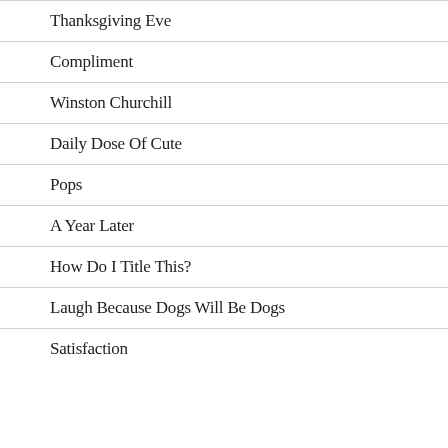Thanksgiving Eve
Compliment
Winston Churchill
Daily Dose Of Cute
Pops
A Year Later
How Do I Title This?
Laugh Because Dogs Will Be Dogs
Satisfaction